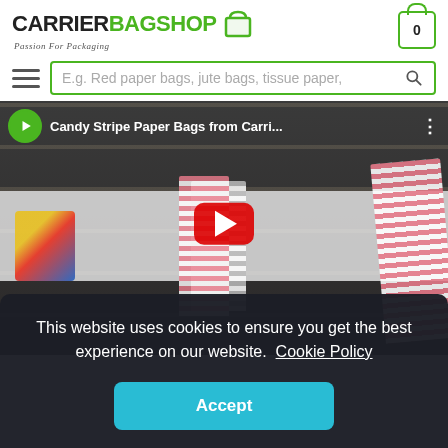[Figure (logo): CarrierBagShop logo with green bag icon and tagline 'Passion For Packaging']
[Figure (screenshot): Shopping cart icon with number 0]
[Figure (screenshot): Search bar with placeholder text 'E.g. Red paper bags, jute bags, tissue paper,' and hamburger menu icon]
[Figure (screenshot): YouTube video thumbnail showing candy stripe paper bags with play button, title 'Candy Stripe Paper Bags from Carri...']
This website uses cookies to ensure you get the best experience on our website.  Cookie Policy
Accept